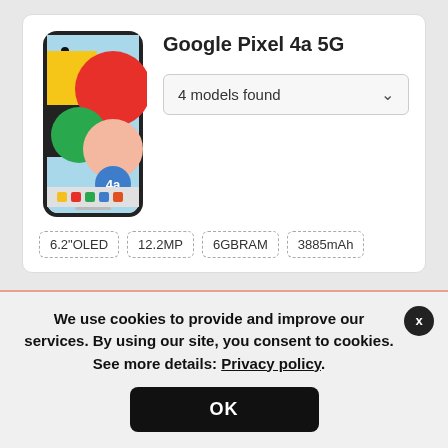Google Pixel 4a 5G
4 models found
6.2"OLED
12.2MP
6GBRAM
3885mAh
Google Pixel 5
We use cookies to provide and improve our services. By using our site, you consent to cookies. See more details: Privacy policy.
OK